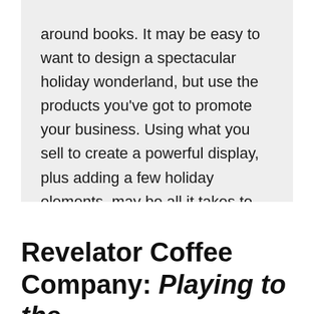around books. It may be easy to want to design a spectacular holiday wonderland, but use the products you've got to promote your business. Using what you sell to create a powerful display, plus adding a few holiday elements, may be all it takes to create something that draws your customers inside to shop.
Revelator Coffee Company: Playing to the